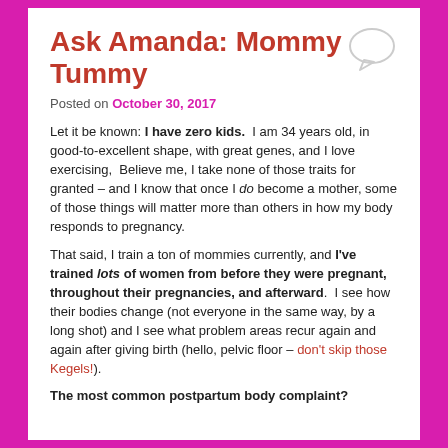Ask Amanda: Mommy Tummy
Posted on October 30, 2017
Let it be known: I have zero kids.  I am 34 years old, in good-to-excellent shape, with great genes, and I love exercising,  Believe me, I take none of those traits for granted – and I know that once I do become a mother, some of those things will matter more than others in how my body responds to pregnancy.
That said, I train a ton of mommies currently, and I've trained lots of women from before they were pregnant, throughout their pregnancies, and afterward.  I see how their bodies change (not everyone in the same way, by a long shot) and I see what problem areas recur again and again after giving birth (hello, pelvic floor – don't skip those Kegels!).
The most common postpartum body complaint?